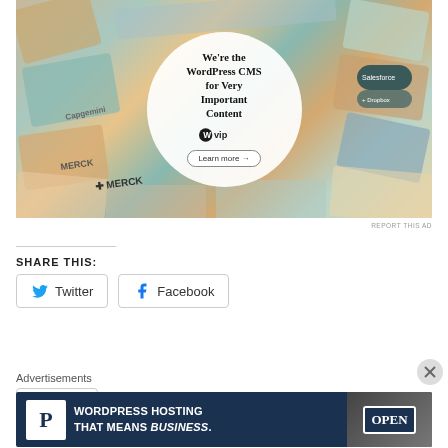[Figure (illustration): WordPress VIP advertisement banner showing a collage of website thumbnails with a large white circle in the center containing text 'We're the WordPress CMS for Very Important Content' with WordPress VIP logo and 'Learn more →' button. Brand logos visible include Capgemini, Merck, hachette.]
REPORT THIS AD
SHARE THIS:
Twitter
Facebook
[Figure (illustration): Advertisements banner at the bottom with a dark blue background showing WordPress hosting advertisement with 'P' logo, text 'WORDPRESS HOSTING THAT MEANS BUSINESS.' and an image of an OPEN sign.]
Advertisements